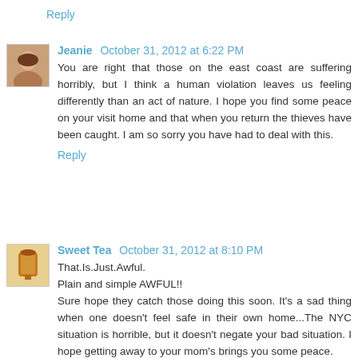Reply
Jeanie  October 31, 2012 at 6:22 PM
You are right that those on the east coast are suffering horribly, but I think a human violation leaves us feeling differently than an act of nature. I hope you find some peace on your visit home and that when you return the thieves have been caught. I am so sorry you have had to deal with this.
Reply
Sweet Tea  October 31, 2012 at 8:10 PM
That.Is.Just.Awful.
Plain and simple AWFUL!!
Sure hope they catch those doing this soon. It's a sad thing when one doesn't feel safe in their own home...The NYC situation is horrible, but it doesn't negate your bad situation. I hope getting away to your mom's brings you some peace.
Reply